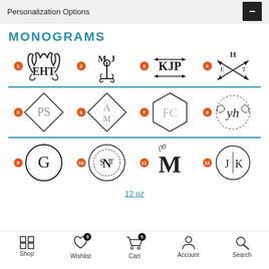Personalization Options
MONOGRAMS
[Figure (illustration): Grid of 12 monogram style options numbered 1-12. Row 1: 1=EHT antler style, 2=MJ anchor style, 3=KJP arrow style, 4=HET crossed arrows style. Row 2: 5=PS diamond frame, 6=AM diamond frame, 7=FC hexagon frame, 8=yh wreath style. Row 3: 9=G circle floral, 10=STN wreath circle, 11=M botanical, 12=JK circle.]
12 oz
Shop  Wishlist  Cart  Account  Search